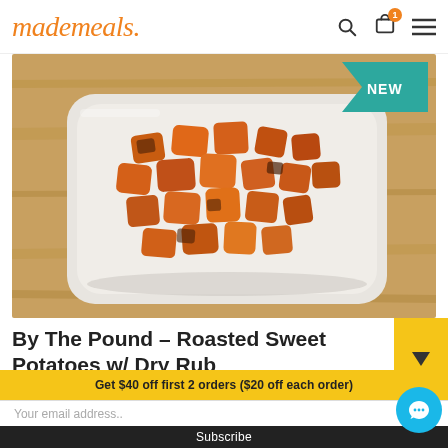mademeals.
[Figure (photo): Roasted sweet potato cubes with dry rub in a white meal prep container on a wooden cutting board. A teal 'NEW' badge is visible in the top-right corner of the image.]
By The Pound – Roasted Sweet Potatoes w/ Dry Rub
Get $40 off first 2 orders ($20 off each order)
Your email address..
Subscribe